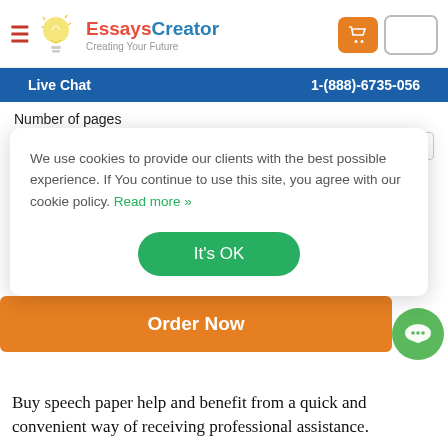[Figure (logo): EssaysCreator logo with lightbulb icon and tagline 'Creating Your Future']
Live Chat   1-(888)-6735-056
Number of pages
We use cookies to provide our clients with the best possible experience. If You continue to use this site, you agree with our cookie policy. Read more »
It's OK
Order Now
Buy speech paper help and benefit from a quick and convenient way of receiving professional assistance.